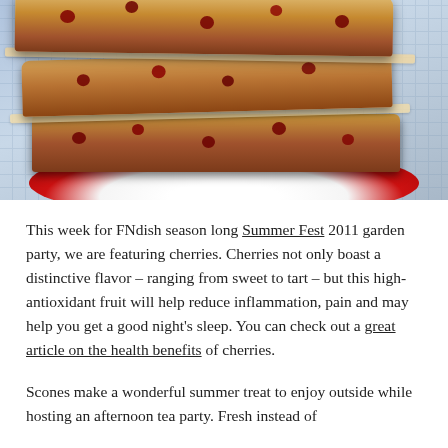[Figure (photo): Stacked cherry scones on a red and white plate, with parchment paper between layers, photographed close-up]
This week for FNdish season long Summer Fest 2011 garden party, we are featuring cherries. Cherries not only boast a distinctive flavor – ranging from sweet to tart – but this high-antioxidant fruit will help reduce inflammation, pain and may help you get a good night's sleep. You can check out a great article on the health benefits of cherries.
Scones make a wonderful summer treat to enjoy outside while hosting an afternoon tea party. Fresh instead of